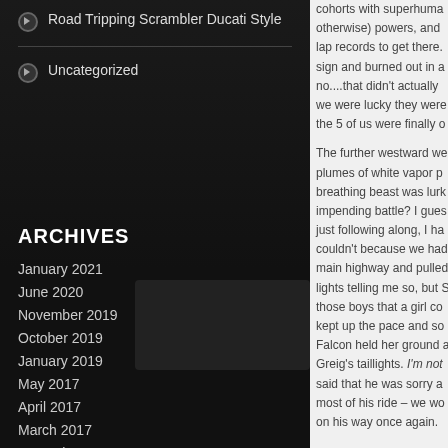Road Tripping Scrambler Ducati Style
Uncategorized
ARCHIVES
January 2021
June 2020
November 2019
October 2019
January 2019
May 2017
April 2017
March 2017
December 2016
April 2016
November 2015
October 2015
cohorts with superhuma otherwise) powers, and lap records to get there. sign and burned out in a no....that didn't actually we were lucky they were the 5 of us were finally o The further westward we plumes of white vapor p breathing beast was lurk impending battle? I gues just following along, I ha couldn't because we had main highway and pulled lights telling me so, but S those boys that a girl co kept up the pace and so Falcon held her ground a Greig's taillights. I'm not said that he was sorry a most of his ride – we wo on his way once again.